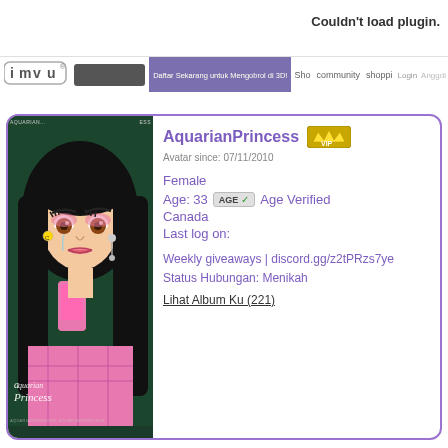Couldn't load plugin.
[Figure (screenshot): IMVU navigation bar with logo, search box, and navigation links including 'Daftar Sekarang untuk Mengobrol di 3D!', 'Sho', 'community', 'shoppi', 'Login', 'Anggdi']
[Figure (illustration): IMVU avatar portrait of AquarianPrincess - anime-style female character with long black hair, pink eye makeup, Chanel earring, holding a pink phone, wearing pink plaid outfit. Watermark text 'AQUARIANPRINCESS AQUARIANPRINCESS' at bottom.]
AquarianPrincess
Avatar since: 07/11/2010
Female
Age: 33  Age Verified
Canada
Last log on:
Weekly giveaways | discord.gg/z2tPRzs7ye
Status Hubungan: Menikah
Lihat Album Ku (221)